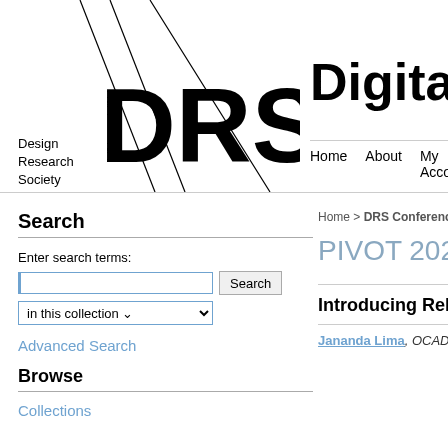[Figure (logo): DRS Design Research Society logo with diagonal lines and bold DRS lettering]
Digital
Home   About   My Acco
Search
Enter search terms:
in this collection
Advanced Search
Browse
Collections
Home > DRS Conference Proceed
PIVOT 2021: RE
Introducing Relat
Jananda Lima, OCAD Univers